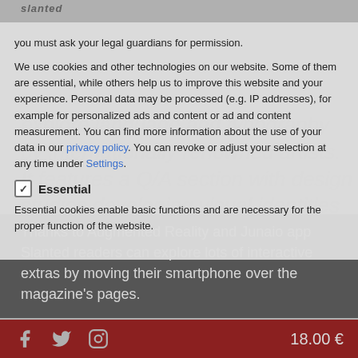you must ask your legal guardians for permission.
We use cookies and other technologies on our website. Some of them are essential, while others help us to improve this website and your experience. Personal data may be processed (e.g. IP addresses), for example for personalized ads and content or ad and content measurement. You can find more information about the use of your data in our privacy policy. You can revoke or adjust your selection at any time under Settings.
Essential
Essential cookies enable basic functions and are necessary for the proper function of the website.
Thanks to Augmented Reality and Junaio app Slanted readers can explore lots of interactive extras by moving their smartphone over the magazine's pages.
18.00 €